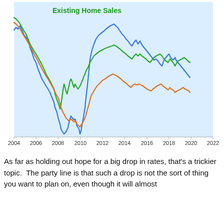[Figure (continuous-plot): Multi-line chart showing Existing Home Sales trends for three series (blue, green, orange) from 2004 to 2022. All three lines peak around 2004-2006, decline sharply through 2008-2011 reaching a trough, then recover through 2012-2019. Blue line shows the most volatile pattern and highest peak in the right portion. Green and orange lines track closely together in recovery phase.]
As far as holding out hope for a big drop in rates, that's a trickier topic.  The party line is that such a drop is not the sort of thing you want to plan on, even though it will almost